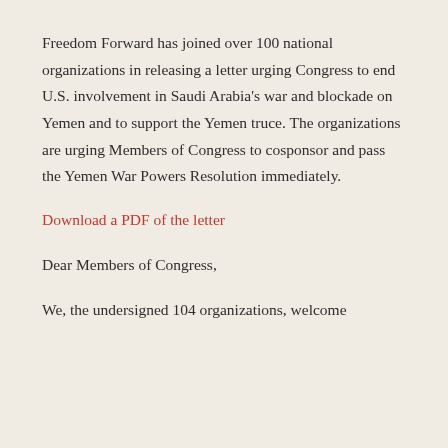Freedom Forward has joined over 100 national organizations in releasing a letter urging Congress to end U.S. involvement in Saudi Arabia's war and blockade on Yemen and to support the Yemen truce. The organizations are urging Members of Congress to cosponsor and pass the Yemen War Powers Resolution immediately.
Download a PDF of the letter
Dear Members of Congress,
We, the undersigned 104 organizations, welcome